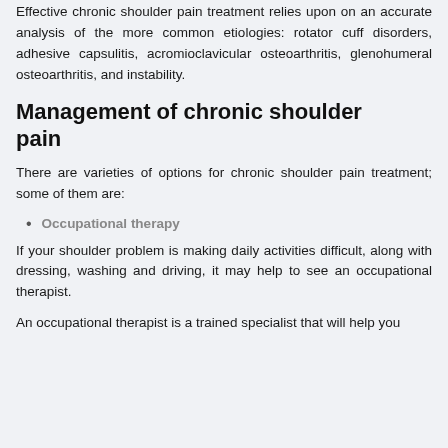Effective chronic shoulder pain treatment relies upon on an accurate analysis of the more common etiologies: rotator cuff disorders, adhesive capsulitis, acromioclavicular osteoarthritis, glenohumeral osteoarthritis, and instability.
Management of chronic shoulder pain
There are varieties of options for chronic shoulder pain treatment; some of them are:
Occupational therapy
If your shoulder problem is making daily activities difficult, along with dressing, washing and driving, it may help to see an occupational therapist.
An occupational therapist is a trained specialist that will help you